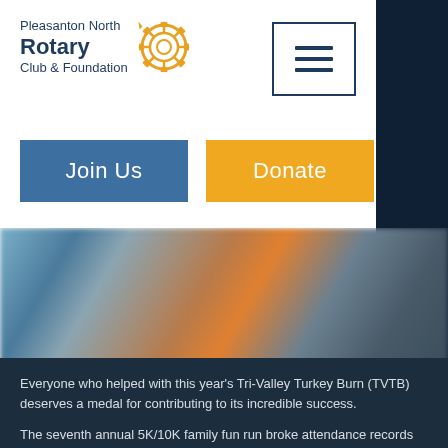[Figure (logo): Pleasanton North Rotary Club & Foundation logo with gear icon]
Join Us
Donate
[Figure (photo): Blurred outdoor photo of people at a run/race event]
Everyone who helped with this year's Tri-Valley Turkey Burn (TVTB) deserves a medal for contributing to its incredible success.
The seventh annual 5K/10K family fun run broke attendance records with 2136